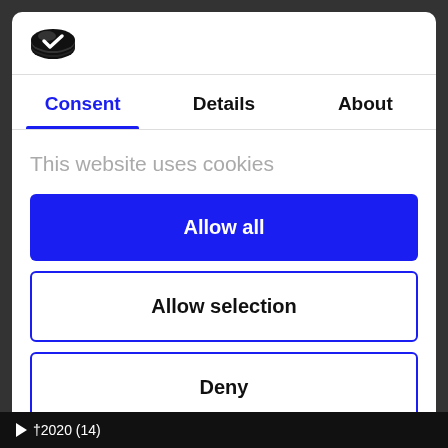[Figure (logo): Cookiebot/Usercentrics cookie consent logo — black oval cookie icon]
Consent	Details	About
This website uses cookies
Allow all
Allow selection
Deny
Powered by Cookiebot by Usercentrics
▶ 2020 (14)